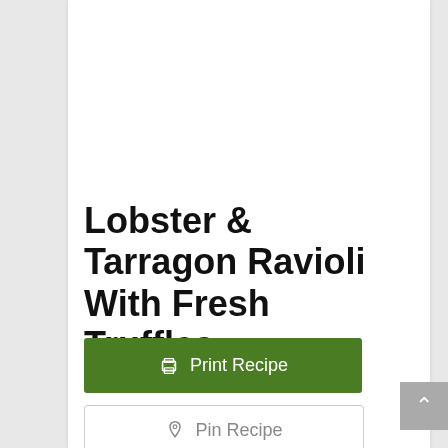Lobster & Tarragon Ravioli With Fresh Truffles
Print Recipe
Pin Recipe